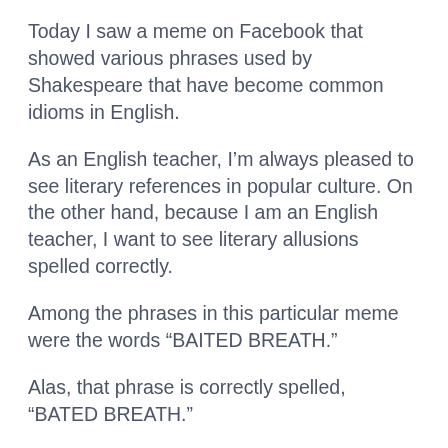Today I saw a meme on Facebook that showed various phrases used by Shakespeare that have become common idioms in English.
As an English teacher, I'm always pleased to see literary references in popular culture. On the other hand, because I am an English teacher, I want to see literary allusions spelled correctly.
Among the phrases in this particular meme were the words “BAITED BREATH.”
Alas, that phrase is correctly spelled, “BATED BREATH.”
The expression occurs in Shakespeare’s The Merchant of Venice.